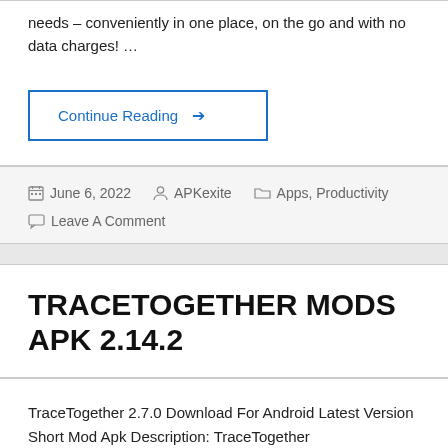needs – conveniently in one place, on the go and with no data charges! …
Continue Reading →
June 6, 2022  APKexite  Apps, Productivity
Leave A Comment
TRACETOGETHER MODS APK 2.14.2
TraceTogether 2.7.0 Download For Android Latest Version Short Mod Apk Description: TraceTogether